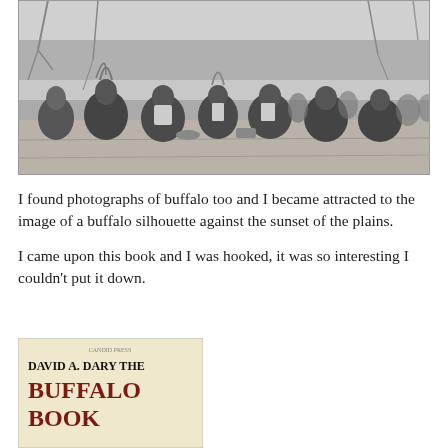[Figure (photo): Black and white historical photograph of a group of Native American men seated on the ground outdoors, some wearing traditional headdresses and ceremonial attire, with trees and people in the background.]
I found photographs of buffalo too and I became attracted to the image of a buffalo silhouette against the sunset of the plains.
I came upon this book and I was hooked, it was so interesting I couldn't put it down.
[Figure (photo): Book cover of 'The Buffalo Book' by David A. Dary, showing a cream/tan background with bold dark text. The author name 'DAVID A. DARY' appears at top in black, followed by 'THE BUFFALO BOOK' in large dark red/maroon serif letters.]